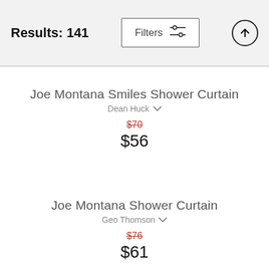Results: 141  Filters
Joe Montana Smiles Shower Curtain
Dean Huck
$70
$56
Joe Montana Shower Curtain
Geo Thomson
$76
$61